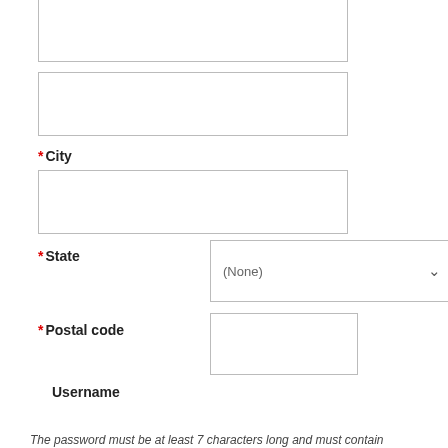[Figure (other): Empty text input box (top, partially visible)]
[Figure (other): Empty text input box (second, partially visible)]
* City
[Figure (other): Empty text input box for City]
* State
[Figure (other): Dropdown select box showing (None)]
* Postal code
[Figure (other): Empty text input box for Postal code]
Username
* Password
[Figure (other): Empty text input box for Password]
* Confirm password
[Figure (other): Empty text input box for Confirm password]
The password must be at least 7 characters long and must contain